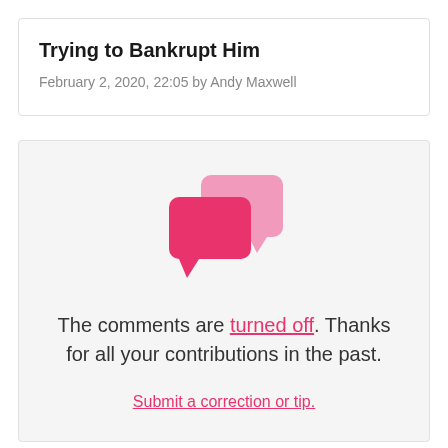Trying to Bankrupt Him
February 2, 2020, 22:05 by Andy Maxwell
[Figure (illustration): Two overlapping pink speech bubble / chat icons]
The comments are turned off. Thanks for all your contributions in the past.
Submit a correction or tip.